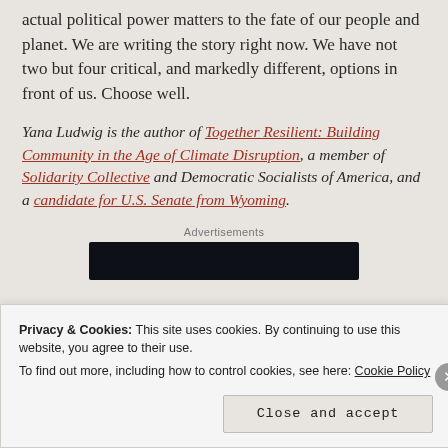actual political power matters to the fate of our people and planet. We are writing the story right now. We have not two but four critical, and markedly different, options in front of us. Choose well.
Yana Ludwig is the author of Together Resilient: Building Community in the Age of Climate Disruption, a member of Solidarity Collective and Democratic Socialists of America, and a candidate for U.S. Senate from Wyoming.
Advertisements
[Figure (other): Dark advertisement banner image]
Privacy & Cookies: This site uses cookies. By continuing to use this website, you agree to their use. To find out more, including how to control cookies, see here: Cookie Policy
Close and accept